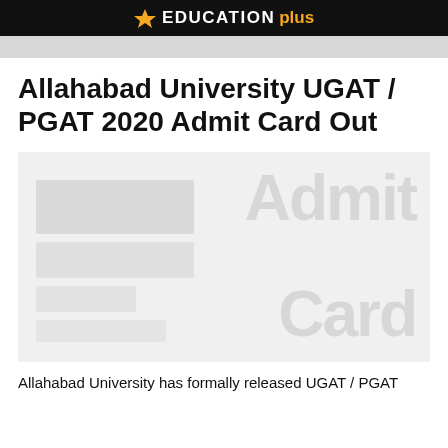EDUCATION plus
Allahabad University UGAT / PGAT 2020 Admit Card Out
[Figure (photo): Admit card sample image with watermark text 'Admit Card' overlaid on a light grey background, with placeholder form fields on the left side]
Allahabad University has formally released UGAT / PGAT